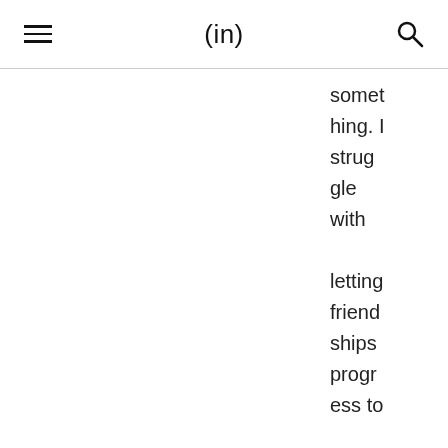(in)
something. I struggle with letting friendships progress to the dropping in stage, with